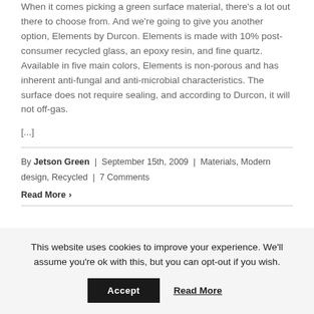When it comes picking a green surface material, there's a lot out there to choose from.  And we're going to give you another option, Elements by Durcon.  Elements is made with 10% post-consumer recycled glass, an epoxy resin, and fine quartz.  Available in five main colors, Elements is non-porous and has inherent anti-fungal and anti-microbial characteristics.  The surface does not require sealing, and according to Durcon, it will not off-gas.
[...]
By Jetson Green | September 15th, 2009 | Materials, Modern design, Recycled | 7 Comments
Read More ›
This website uses cookies to improve your experience. We'll assume you're ok with this, but you can opt-out if you wish.
Accept | Read More